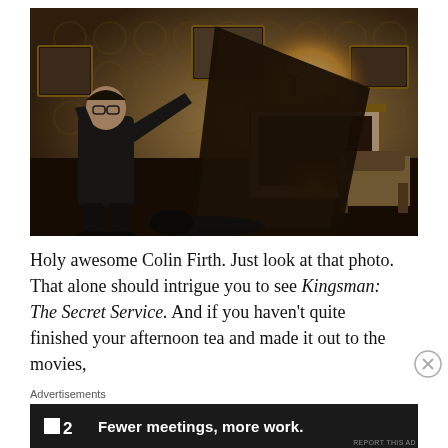[Figure (photo): A man in a dark suit holding a large piece of furniture as a shield in a warmly lit pub or parlour with patterned wallpaper, a fireplace, wall sconces, and framed pictures on the wall. A figure lies on the floor in front of him. Scene from Kingsman: The Secret Service.]
Holy awesome Colin Firth. Just look at that photo. That alone should intrigue you to see Kingsman: The Secret Service. And if you haven't quite finished your afternoon tea and made it out to the movies,
Advertisements
[Figure (screenshot): Advertisement banner: dark background with a logo showing a small square and '2', followed by bold white text reading 'Fewer meetings, more work.']